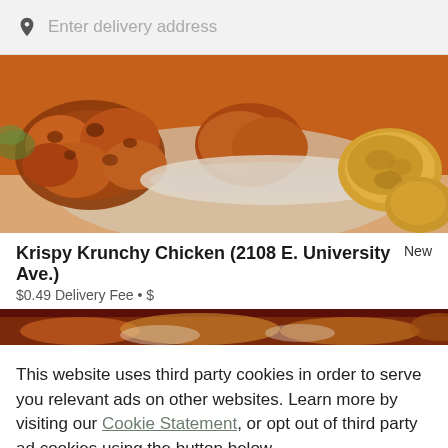Enter delivery address
[Figure (photo): Photo of fried chicken pieces in a bowl with biscuits on the side]
Krispy Krunchy Chicken (2108 E. University Ave.)
New
$0.49 Delivery Fee • $
[Figure (photo): Partial photo of another restaurant food item]
This website uses third party cookies in order to serve you relevant ads on other websites. Learn more by visiting our Cookie Statement, or opt out of third party ad cookies using the button below.
OPT OUT
GOT IT